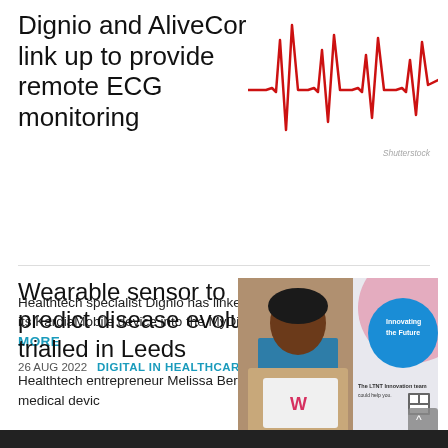Dignio and AliveCor link up to provide remote ECG monitoring
[Figure (illustration): ECG heartbeat waveform in red on white background]
Healthtech specialist Dignio has linked up with AliveCor to integrate its KardiaMobile device into the MyDignio smartphone app. READ MORE
26 AUG 2022   DIGITAL IN HEALTHCARE NEWS
Wearable sensor to predict disease evolution trialled in Leeds
[Figure (photo): Healthtech entrepreneur Melissa Berthelot holding a laptop with a Wander device logo, standing in front of an LTNT Innovation team banner reading 'Innovating the Future']
Healthtech entrepreneur Melissa Berthelot, the founder and CEO of medical device